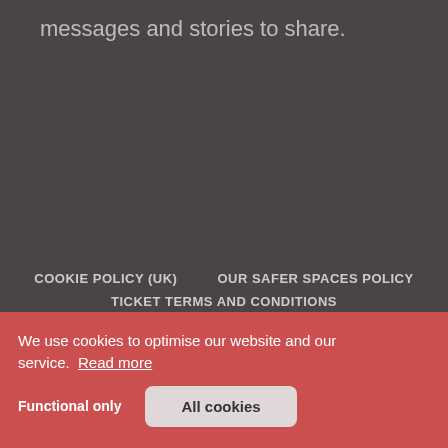messages and stories to share.
COOKIE POLICY (UK)   OUR SAFER SPACES POLICY   TICKET TERMS AND CONDITIONS
We use cookies to optimise our website and our service. Read more
Functional only
All cookies